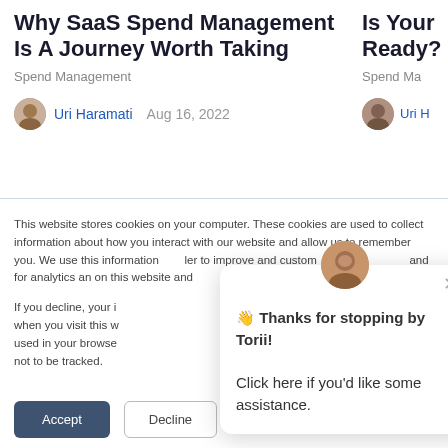Why SaaS Spend Management Is A Journey Worth Taking
Spend Management
Uri Haramati  Aug 16, 2022
Is Your Ready?
Spend Ma...
Uri H...
This website stores cookies on your computer. These cookies are used to collect information about how you interact with our website and allow us to remember you. We use this information to improve and customize and for analytics an on this website and about the cookies w
If you decline, your i when you visit this w used in your browse not to be tracked.
[Figure (screenshot): Chat popup overlay with avatar, close button, and message: Thanks for stopping by Torii! Click here if you'd like some assistance.]
Accept
Decline